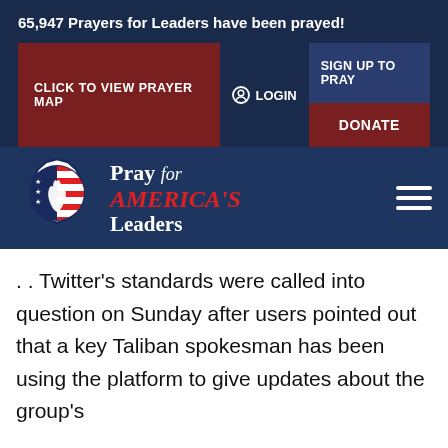65,947 Prayers for Leaders have been prayed!
CLICK TO VIEW PRAYER MAP
LOGIN
SIGN UP TO PRAY
DONATE
[Figure (logo): Pray for America's Leaders logo with praying hands and American flag shield emblem]
Pray for AMERICA'S Leaders
. . Twitter's standards were called into question on Sunday after users pointed out that a key Taliban spokesman has been using the platform to give updates about the group's